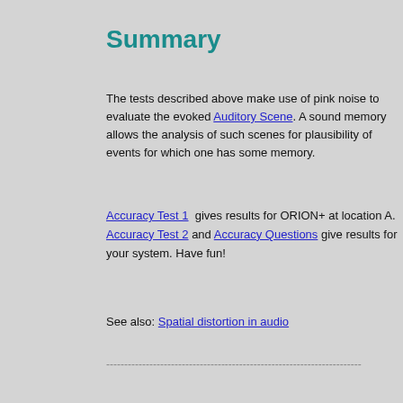Summary
The tests described above make use of pink noise to evaluate the evoked Auditory Scene. A sound memory allows the analysis of such scenes for plausibility of events for which one has some memory.
Accuracy Test 1 gives results for ORION+ at location A.
Accuracy Test 2 and Accuracy Questions give results for your system. Have fun!
See also: Spatial distortion in audio
-------------------------------------------------------------------